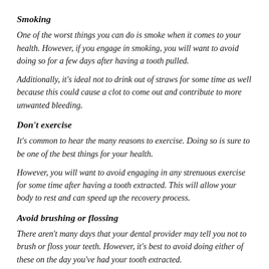Smoking
One of the worst things you can do is smoke when it comes to your health. However, if you engage in smoking, you will want to avoid doing so for a few days after having a tooth pulled.
Additionally, it's ideal not to drink out of straws for some time as well because this could cause a clot to come out and contribute to more unwanted bleeding.
Don't exercise
It's common to hear the many reasons to exercise. Doing so is sure to be one of the best things for your health.
However, you will want to avoid engaging in any strenuous exercise for some time after having a tooth extracted. This will allow your body to rest and can speed up the recovery process.
Avoid brushing or flossing
There aren't many days that your dental provider may tell you not to brush or floss your teeth. However, it's best to avoid doing either of these on the day you've had your tooth extracted.
Doing so could cause unwanted irritation and may cause your